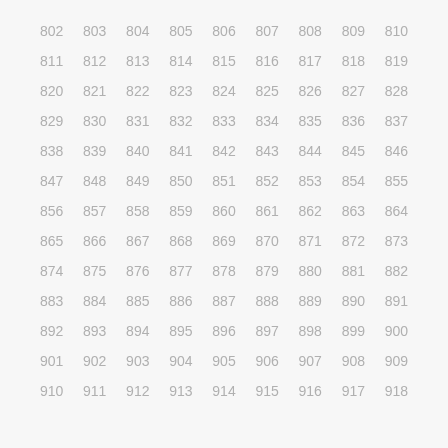802 803 804 805 806 807 808 809 810 811 812 813 814 815 816 817 818 819 820 821 822 823 824 825 826 827 828 829 830 831 832 833 834 835 836 837 838 839 840 841 842 843 844 845 846 847 848 849 850 851 852 853 854 855 856 857 858 859 860 861 862 863 864 865 866 867 868 869 870 871 872 873 874 875 876 877 878 879 880 881 882 883 884 885 886 887 888 889 890 891 892 893 894 895 896 897 898 899 900 901 902 903 904 905 906 907 908 909 910 911 912 913 914 915 916 917 918